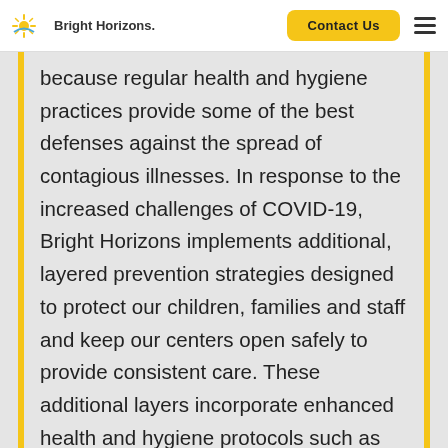Bright Horizons | Contact Us
because regular health and hygiene practices provide some of the best defenses against the spread of contagious illnesses. In response to the increased challenges of COVID-19, Bright Horizons implements additional, layered prevention strategies designed to protect our children, families and staff and keep our centers open safely to provide consistent care. These additional layers incorporate enhanced health and hygiene protocols such as daily screening of staff, children and their respective households for COVID-19 symptoms and